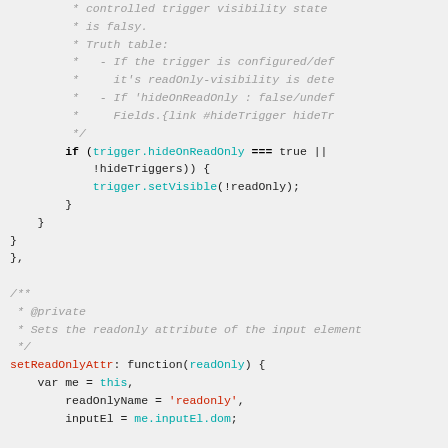Source code snippet showing JavaScript code with JSDoc comments and a setReadOnlyAttr function definition.